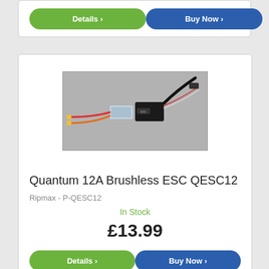[Figure (screenshot): Partial top product card showing Details and Buy Now buttons]
[Figure (photo): Photo of a Quantum 12A Brushless ESC QESC12 electronic speed controller with wires and connectors on a grey background]
Quantum 12A Brushless ESC QESC12
Ripmax - P-QESC12
In Stock
£13.99
Details >
Buy Now >